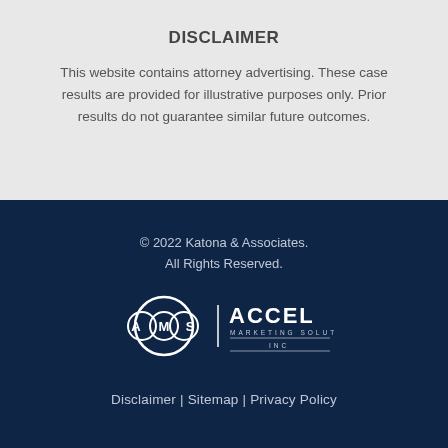DISCLAIMER
This website contains attorney advertising. These case results are provided for illustrative purposes only. Prior results do not guarantee similar future outcomes.
© 2022 Katona & Associates. All Rights Reserved.
[Figure (logo): AMS Accel Marketing Solutions Inc logo in white on dark blue background]
Disclaimer | Sitemap | Privacy Policy